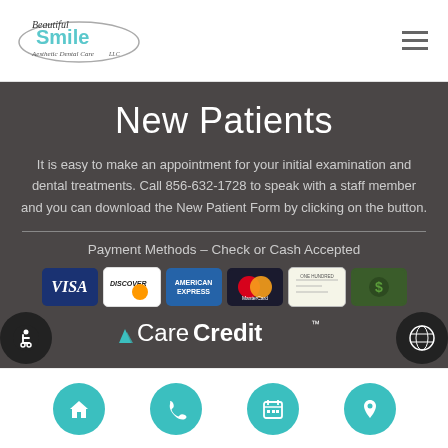[Figure (logo): Beautiful Smile Aesthetic Dental Care LLC logo with cursive text and oval graphic]
New Patients
It is easy to make an appointment for your initial examination and dental treatments. Call 856-632-1728 to speak with a staff member and you can download the New Patient Form by clicking on the button.
Payment Methods – Check or Cash Accepted
[Figure (infographic): Payment method icons: Visa, Discover, American Express, MasterCard, Check, Cash]
[Figure (logo): CareCredit logo with checkmark graphic]